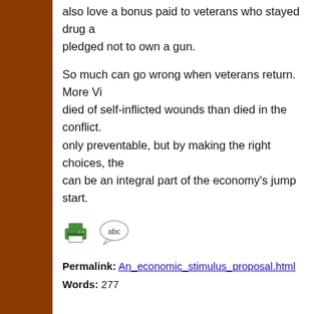also love a bonus paid to veterans who stayed drug and pledged not to own a gun.
So much can go wrong when veterans return. More Vie... died of self-inflicted wounds than died in the conflict. T... only preventable, but by making the right choices, the... can be an integral part of the economy's jump start.
[Figure (other): Printer icon and speech bubble with 'abc' text]
Permalink: An_economic_stimulus_proposal.html
Words: 277
01/21/09 04:23 - ID#47474
Obamicon.me